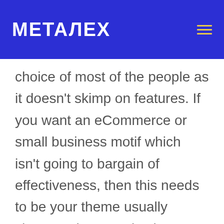METALEX
choice of most of the people as it doesn't skimp on features. If you want an eCommerce or small business motif which isn't going to bargain of effectiveness, then this needs to be your theme usually chosen. The organization or webmasters also needs to have one vital talent which is how to speed – visit the website – up their WordPress internet site. In 2019, your web site had better be receptive! What's as good as a nicely-functioning website? By making it possible for Gzip compression setting, you could lower the retrieval time period of internet site info in the host to your visitor's browser. There are lots of absolutely free Gzip data compression test out